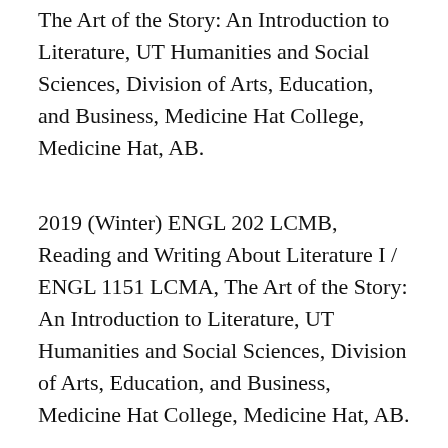The Art of the Story: An Introduction to Literature, UT Humanities and Social Sciences, Division of Arts, Education, and Business, Medicine Hat College, Medicine Hat, AB.
2019 (Winter) ENGL 202 LCMB, Reading and Writing About Literature I / ENGL 1151 LCMA, The Art of the Story: An Introduction to Literature, UT Humanities and Social Sciences, Division of Arts, Education, and Business, Medicine Hat College, Medicine Hat, AB.
2019 (Winter) ENGL 202 LCMC, Reading and Writing About Literature I / ENGL 1151 LCMA, The Art of the Story: An Introduction to Literature, UT Humanities and Social Sciences,